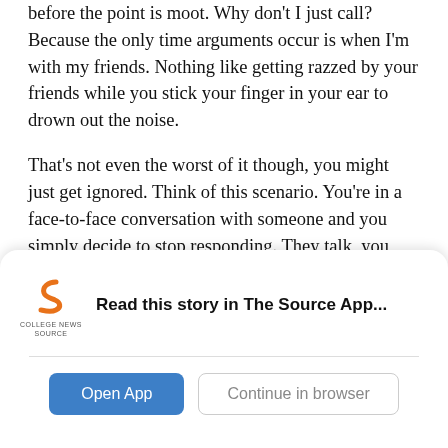before the point is moot. Why don't I just call? Because the only time arguments occur is when I'm with my friends. Nothing like getting razzed by your friends while you stick your finger in your ear to drown out the noise.
That's not even the worst of it though, you might just get ignored. Think of this scenario. You're in a face-to-face conversation with someone and you simply decide to stop responding. They talk, you just don't answer. Confused, they say another sentence, only to look upon your blank stare, lips unmoved. That person would probably think something is wrong with you. Yet not only is that abstract idea totally commonplace when texting
[Figure (screenshot): College News Source app banner with logo, 'Read this story in The Source App...' message, and two buttons: 'Open App' (blue) and 'Continue in browser' (outlined)]